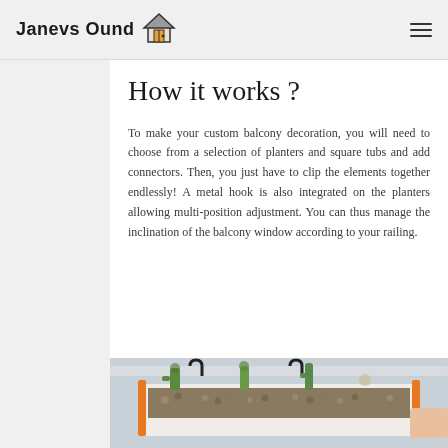Janevs Ound
How it works ?
To make your custom balcony decoration, you will need to choose from a selection of planters and square tubs and add connectors. Then, you just have to clip the elements together endlessly! A metal hook is also integrated on the planters allowing multi-position adjustment. You can thus manage the inclination of the balcony window according to your railing.
[Figure (photo): Photo of a white rectangular balcony planter box hanging from a railing with metal hooks, filled with soil/clay pebbles and various cacti/succulents, with orange bracket hardware visible]